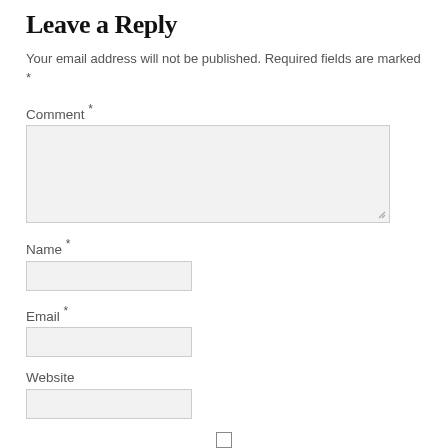Leave a Reply
Your email address will not be published. Required fields are marked *
Comment *
Name *
Email *
Website
Save my name, email, and website in this browser for